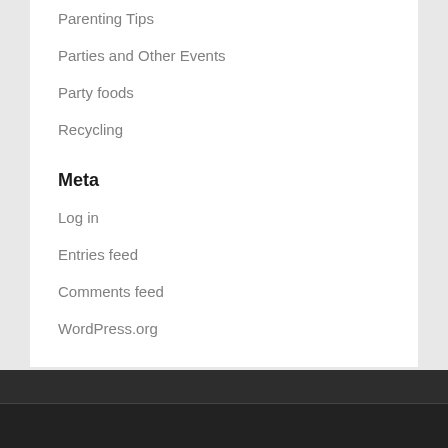Parenting Tips
Parties and Other Events
Party foods
Recycling
Meta
Log in
Entries feed
Comments feed
WordPress.org